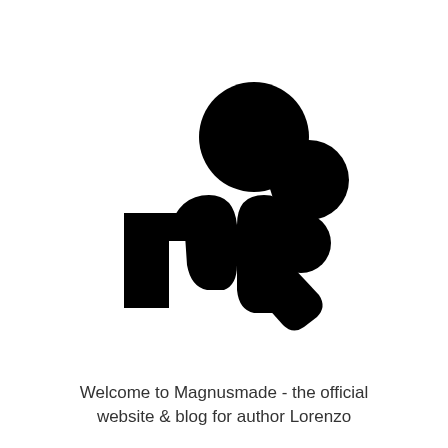[Figure (logo): Magnusmade logo: a stylized black 'm' letterform with three circles of decreasing size arranged diagonally above-right, and a rectangular notch element to the left]
Welcome to Magnusmade - the official website & blog for author Lorenzo